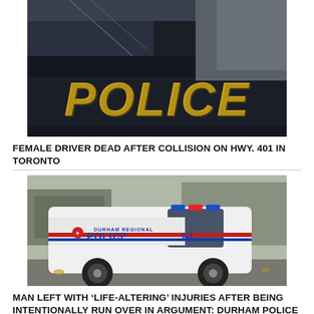[Figure (photo): Close-up of a dark police cruiser door with gold 'POLICE' text, a uniformed officer standing in background near a building]
FEMALE DRIVER DEAD AFTER COLLISION ON HWY. 401 IN TORONTO
[Figure (photo): Durham Regional Police white SUV cruiser with red and blue stripes and 911 markings, parked in a lot with other vehicles in background]
MAN LEFT WITH ‘LIFE-ALTERING’ INJURIES AFTER BEING INTENTIONALLY RUN OVER IN ARGUMENT: DURHAM POLICE